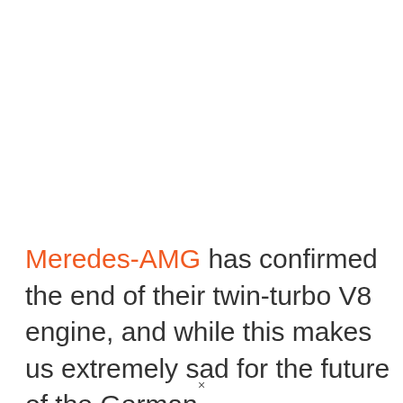Meredes-AMG has confirmed the end of their twin-turbo V8 engine, and while this makes us extremely sad for the future of the German
×